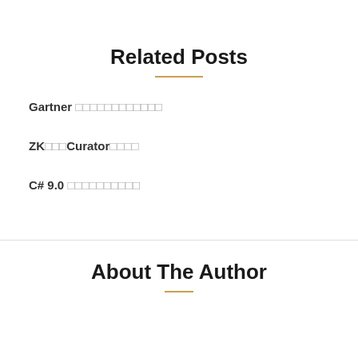Related Posts
Gartner □□□□□□□□□□□□
ZK□□□Curator□□□□
C# 9.0 □□□□□□□□□□
About The Author